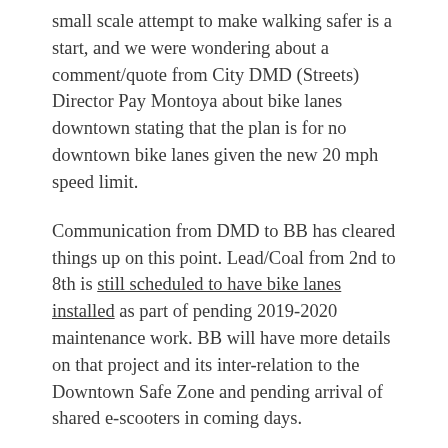small scale attempt to make walking safer is a start, and we were wondering about a comment/quote from City DMD (Streets) Director Pay Montoya about bike lanes downtown stating that the plan is for no downtown bike lanes given the new 20 mph speed limit.
Communication from DMD to BB has cleared things up on this point. Lead/Coal from 2nd to 8th is still scheduled to have bike lanes installed as part of pending 2019-2020 maintenance work. BB will have more details on that project and its inter-relation to the Downtown Safe Zone and pending arrival of shared e-scooters in coming days.
By the way, if you haven't walked or cycled Lead/Coal between 2nd and 8th lately, slowly checking it out is an amazing history lesson in downtown striping. These two stretches desperately in need of maintenance